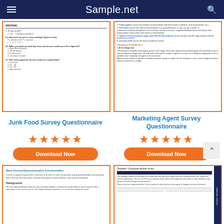Sample.net
[Figure (screenshot): Thumbnail of a Smoking Survey Questionnaire document]
[Figure (screenshot): Thumbnail of a Marketing Agent Survey document with orange-highlighted list items]
Junk Food Survey Questionnaire
Marketing Agent Survey Questionnaire
★★★★★
★★★★★
Download Now
Download Now
[Figure (screenshot): Thumbnail of New Survey/Questionnaire Functionality document]
[Figure (screenshot): Thumbnail of Template - Employee attitude survey document]